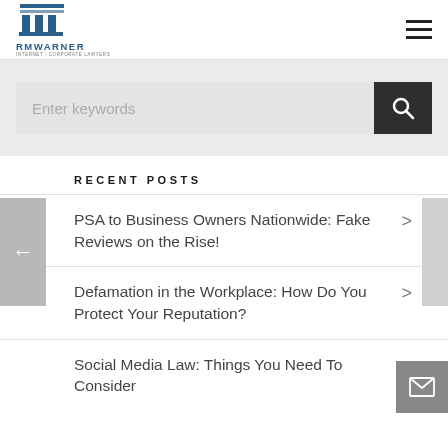RM WARNER — INTERNET / CORPORATE LAWYERS
[Figure (screenshot): Search input field with 'Enter keywords' placeholder and dark search button with magnifying glass icon]
RECENT POSTS
PSA to Business Owners Nationwide: Fake Reviews on the Rise!
Defamation in the Workplace: How Do You Protect Your Reputation?
Social Media Law: Things You Need To Consider